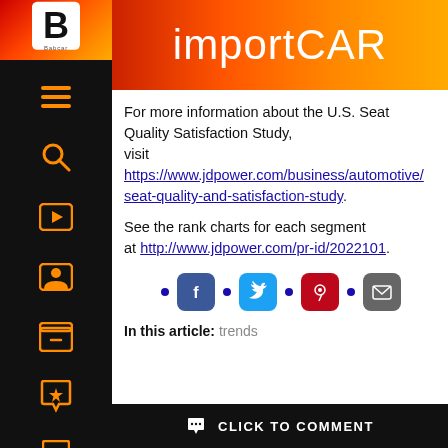importCAR
For more information about the U.S. Seat Quality Satisfaction Study, visit https://www.jdpower.com/business/automotive/seat-quality-and-satisfaction-study.
See the rank charts for each segment at http://www.jdpower.com/pr-id/2022101.
[Figure (other): Social media share icons: Facebook, Twitter, Pinterest, Email]
In this article: trends
CLICK TO COMMENT